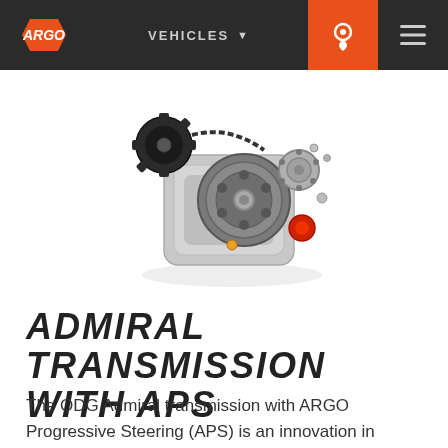ARGO | VEHICLES
[Figure (photo): ODG Admiral transmission with APS — a mechanical transmission unit with gears, belt pulleys, braking discs, and silver die-cast housing photographed on white background]
ADMIRAL TRANSMISSION WITH APS
The ODG Admiral transmission with ARGO Progressive Steering (APS) is an innovation in braking force application to the transmission steering differential. By